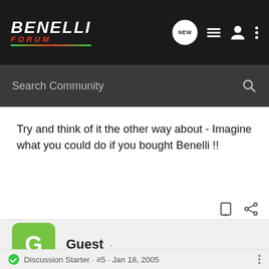[Figure (logo): Benelli Forum logo with stylized italic text, green/red underline stripe, on dark background]
Search Community
Try and think of it the other way about - Imagine what you could do if you bought Benelli !!
Guest ·
Discussion Starter · #5 · Jan 18, 2005